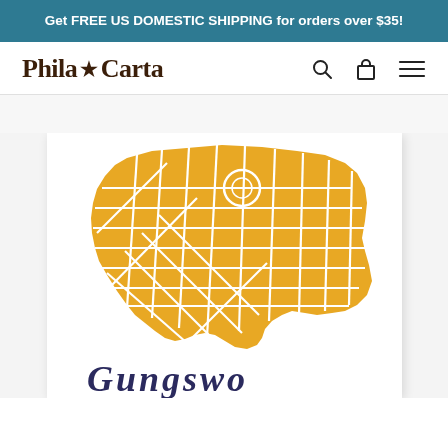Get FREE US DOMESTIC SHIPPING for orders over $35!
[Figure (logo): Phila★Carta logo with search, cart, and menu icons in navigation bar]
[Figure (photo): Product photo showing a yellow/gold screenprint map of a Philadelphia neighborhood with decorative script text partially visible at the bottom]